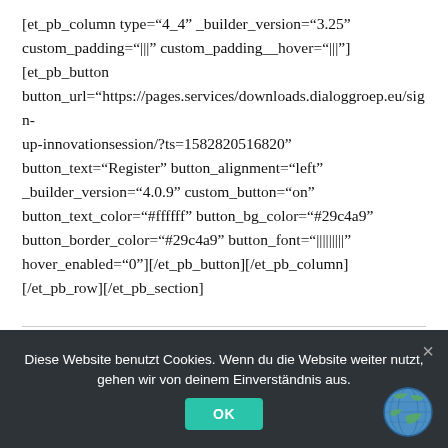[et_pb_column type="4_4" _builder_version="3.25" custom_padding="|||” custom_padding__hover="|||"]
[et_pb_button
button_url="https://pages.services/downloads.dialoggroep.eu/sign-up-innovationsession/?ts=1582820516820”
button_text="Register" button_alignment="left"
_builder_version="4.0.9" custom_button="on"
button_text_color="#ffffff" button_bg_color="#29c4a9"
button_border_color="#29c4a9" button_font="|||||||||"
hover_enabled="0"][/et_pb_button][/et_pb_column]
[/et_pb_row][/et_pb_section]
Diese Website benutzt Cookies. Wenn du die Website weiter nutzt, gehen wir von deinem Einverständnis aus.